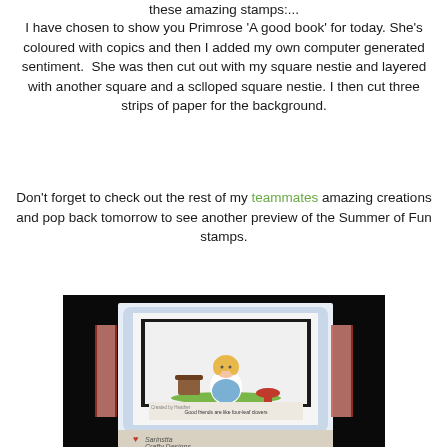these amazing stamps:...
I have chosen to show you Primrose 'A good book' for today. She's coloured with copics and then I added my own computer generated sentiment.  She was then cut out with my square nestie and layered with another square and a sclloped square nestie. I then cut three strips of paper for the background.
Don't forget to check out the rest of my teammates amazing creations and pop back tomorrow to see another preview of the Summer of Fun stamps.
[Figure (photo): A handmade greeting card featuring a cute illustrated girl (Primrose 'A good book' stamp) sitting with a picnic basket, coloured with copics, layered on scalloped squares. The card has decorative paper strips for the background. Watermark reads 'Created by Heather' with 'Sarinstta Crafty Designs' branding.]